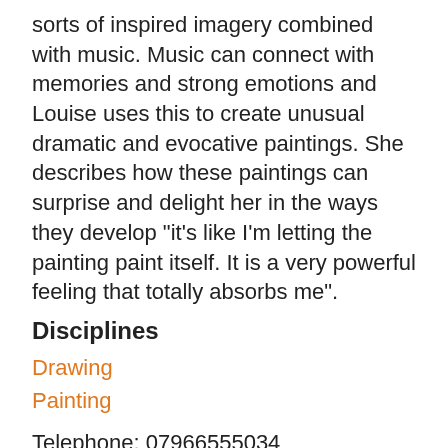sorts of inspired imagery combined with music. Music can connect with memories and strong emotions and Louise uses this to create unusual dramatic and evocative paintings. She describes how these paintings can surprise and delight her in the ways they develop "it's like I'm letting the painting paint itself. It is a very powerful feeling that totally absorbs me".
Disciplines
Drawing
Painting
Telephone: 07966555034
Email: red.lou@talktalk.net